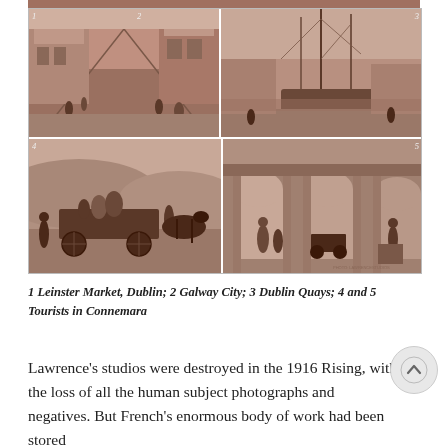[Figure (photo): A composite plate of 5 sepia-toned historical photographs arranged in a 2x2 grid with a partial strip at top. Photos numbered 1-5 show: 1 - Leinster Market Dublin street scene, 2 - Galway City street with tall ship masts visible, 3 - Dublin Quays with sailing vessel, 4 - Tourists in Connemara on a horse cart, 5 - Tourists in Connemara under arched colonnade.]
1 Leinster Market, Dublin; 2 Galway City; 3 Dublin Quays; 4 and 5 Tourists in Connemara
Lawrence's studios were destroyed in the 1916 Rising, with the loss of all the human subject photographs and negatives. But French's enormous body of work had been stored